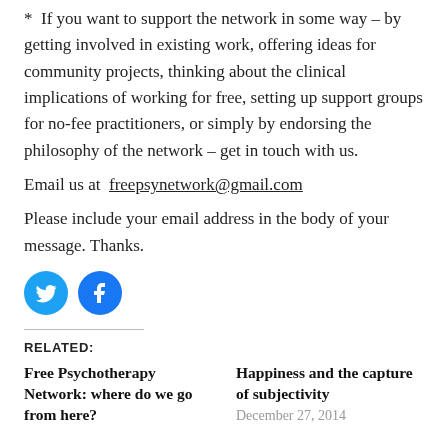*  If you want to support the network in some way – by getting involved in existing work, offering ideas for community projects, thinking about the clinical implications of working for free, setting up support groups for no-fee practitioners, or simply by endorsing the philosophy of the network – get in touch with us.
Email us at  freepsynetwork@gmail.com
Please include your email address in the body of your message. Thanks.
[Figure (other): Twitter and Facebook social media icon circles (blue)]
RELATED:
Free Psychotherapy Network: where do we go from here?
Happiness and the capture of subjectivity
December 27, 2014